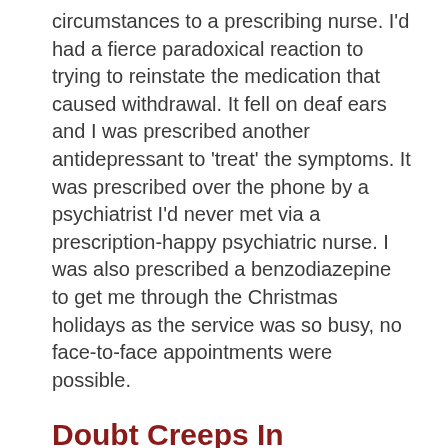circumstances to a prescribing nurse. I'd had a fierce paradoxical reaction to trying to reinstate the medication that caused withdrawal. It fell on deaf ears and I was prescribed another antidepressant to 'treat' the symptoms. It was prescribed over the phone by a psychiatrist I'd never met via a prescription-happy psychiatric nurse. I was also prescribed a benzodiazepine to get me through the Christmas holidays as the service was so busy, no face-to-face appointments were possible.
Doubt Creeps In
This is the first point where I  began to doubt these people were going to be able to help me. One of the most severe symptoms I had developed was anhedonia. It was so severe I cared about very little. It got considerably worse as I tapered the benzodiazepine as instructed after the maximum allowable time for use had passed.